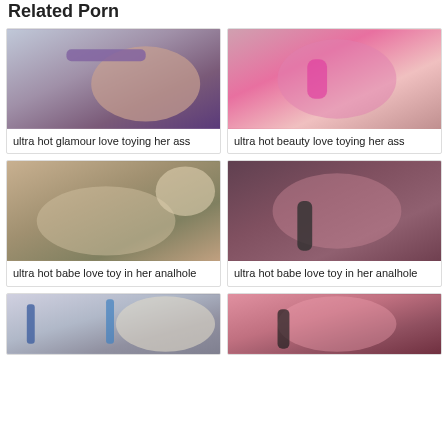Related Porn
[Figure (photo): Adult content thumbnail 1]
ultra hot glamour love toying her ass
[Figure (photo): Adult content thumbnail 2]
ultra hot beauty love toying her ass
[Figure (photo): Adult content thumbnail 3]
ultra hot babe love toy in her analhole
[Figure (photo): Adult content thumbnail 4]
ultra hot babe love toy in her analhole
[Figure (photo): Adult content thumbnail 5 (partial)]
[Figure (photo): Adult content thumbnail 6 (partial)]